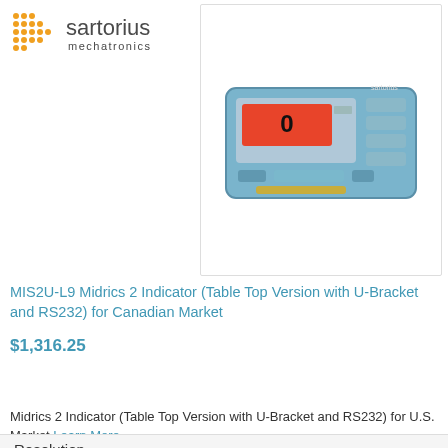sartorius mechatronics
[Figure (photo): Sartorius Midrics 2 Indicator device — a blue rectangular weighing indicator with a red LCD display showing '0', and multiple buttons on the right side.]
MIS2U-L9 Midrics 2 Indicator (Table Top Version with U-Bracket and RS232) for Canadian Market
$1,316.25
Add to Cart
Midrics 2 Indicator (Table Top Version with U-Bracket and RS232) for U.S. Market Learn More
Add to Wishlist | Add to Compare
Resolution